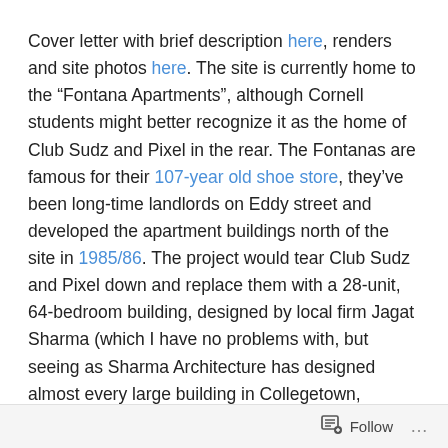Cover letter with brief description here, renders and site photos here. The site is currently home to the “Fontana Apartments”, although Cornell students might better recognize it as the home of Club Sudz and Pixel in the rear. The Fontanas are famous for their 107-year old shoe store, they’ve been long-time landlords on Eddy street and developed the apartment buildings north of the site in 1985/86. The project would tear Club Sudz and Pixel down and replace them with a 28-unit, 64-bedroom building, designed by local firm Jagat Sharma (which I have no problems with, but seeing as Sharma Architecture has designed almost every large building in Collegetown, including the two on the left in the rendering, I would love to see something different). Retail space will be on the first
Follow ...